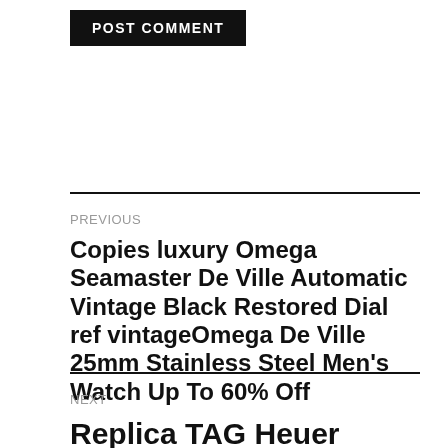POST COMMENT
PREVIOUS
Copies luxury Omega Seamaster De Ville Automatic Vintage Black Restored Dial ref vintageOmega De Ville 25mm Stainless Steel Men’s Watch Up To 60% Off
NEXT
Replica TAG Heuer Carrera